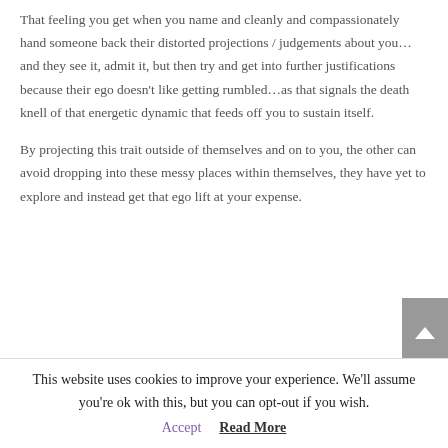That feeling you get when you name and cleanly and compassionately hand someone back their distorted projections / judgements about you… and they see it, admit it, but then try and get into further justifications because their ego doesn't like getting rumbled…as that signals the death knell of that energetic dynamic that feeds off you to sustain itself.
By projecting this trait outside of themselves and on to you, the other can avoid dropping into these messy places within themselves, they have yet to explore and instead get that ego lift at your expense.
This website uses cookies to improve your experience. We'll assume you're ok with this, but you can opt-out if you wish.
Accept   Read More